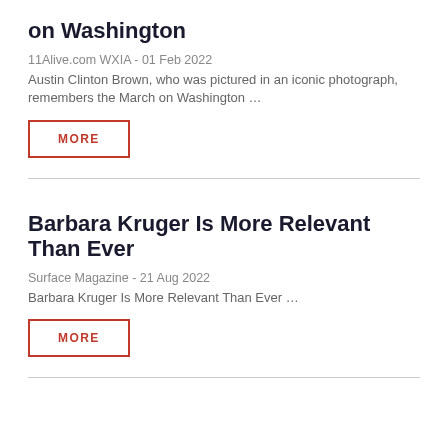on Washington
11Alive.com WXIA - 01 Feb 2022
Austin Clinton Brown, who was pictured in an iconic photograph, remembers the March on Washington …
MORE
Barbara Kruger Is More Relevant Than Ever
Surface Magazine - 21 Aug 2022
Barbara Kruger Is More Relevant Than Ever …
MORE